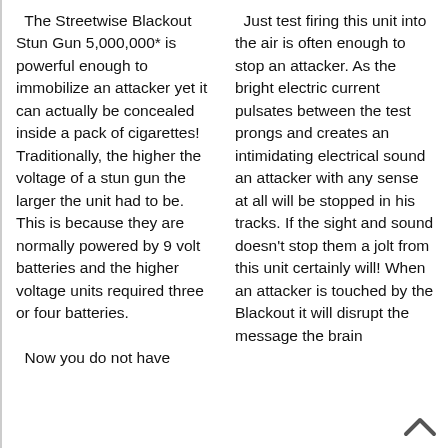The Streetwise Blackout Stun Gun 5,000,000* is powerful enough to immobilize an attacker yet it can actually be concealed inside a pack of cigarettes! Traditionally, the higher the voltage of a stun gun the larger the unit had to be. This is because they are normally powered by 9 volt batteries and the higher voltage units required three or four batteries.
  Now you do not have
Just test firing this unit into the air is often enough to stop an attacker. As the bright electric current pulsates between the test prongs and creates an intimidating electrical sound an attacker with any sense at all will be stopped in his tracks. If the sight and sound doesn't stop them a jolt from this unit certainly will! When an attacker is touched by the Blackout it will disrupt the message the brain